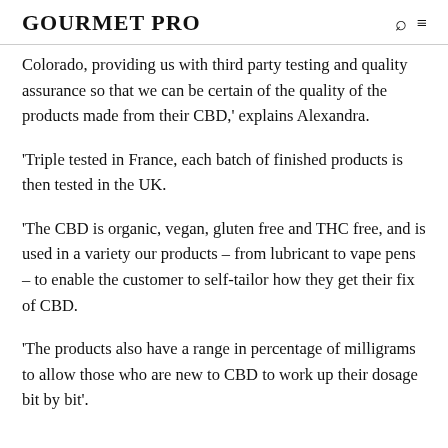GOURMET PRO
Colorado, providing us with third party testing and quality assurance so that we can be certain of the quality of the products made from their CBD,' explains Alexandra.
'Triple tested in France, each batch of finished products is then tested in the UK.
'The CBD is organic, vegan, gluten free and THC free, and is used in a variety our products – from lubricant to vape pens – to enable the customer to self-tailor how they get their fix of CBD.
'The products also have a range in percentage of milligrams to allow those who are new to CBD to work up their dosage bit by bit'.